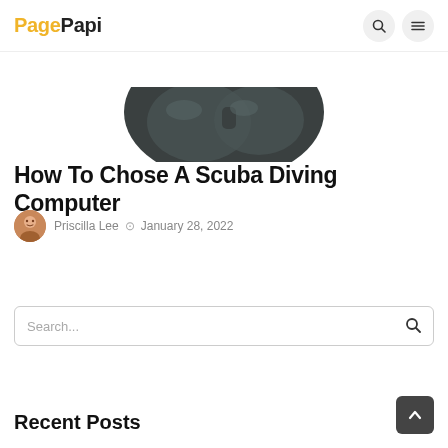PagePapi
[Figure (photo): Partial overhead view of a scuba diving mask — dark grey/black silhouette of the mask lens and frame against a white background]
How To Chose A Scuba Diving Computer
Priscilla Lee  ⊙  January 28, 2022
Search...
Recent Posts